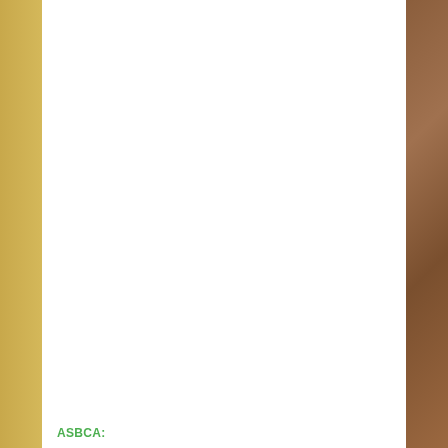[Figure (other): Document page with gold/yellow left margin strip, brown textured right margin strip, large white center area (mostly blank page body), and green 'ASBCA:' label at the bottom left of the white area.]
ASBCA: